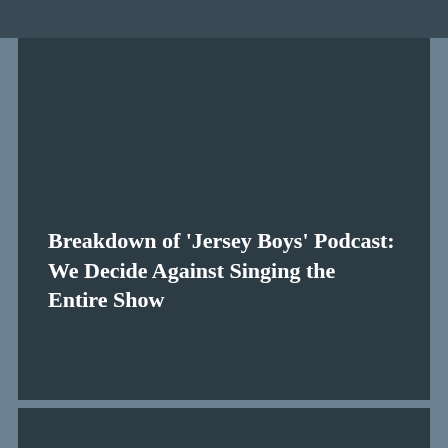Breakdown of 'Jersey Boys' Podcast: We Decide Against Singing the Entire Show
posted by Christopher Spicer June 23, 2014
[Figure (other): Comment bubble icon (yellow) with count 0, and share icon (yellow) on the right]
0